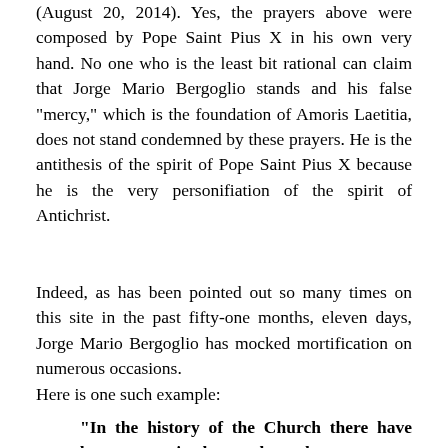(August 20, 2014). Yes, the prayers above were composed by Pope Saint Pius X in his own very hand. No one who is the least bit rational can claim that Jorge Mario Bergoglio stands and his false "mercy," which is the foundation of Amoris Laetitia, does not stand condemned by these prayers. He is the antithesis of the spirit of Pope Saint Pius X because he is the very personifiation of the spirit of Antichrist.
Indeed, as has been pointed out so many times on this site in the past fifty-one months, eleven days, Jorge Mario Bergoglio has mocked mortification on numerous occasions.
Here is one such example:
"In the history of the Church there have been some mistakes made on the